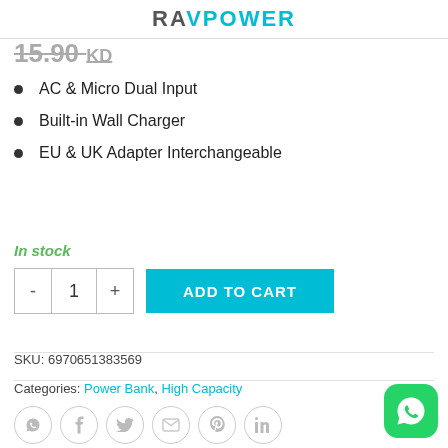RAVPOWER
15.90 KD
AC & Micro Dual Input
Built-in Wall Charger
EU & UK Adapter Interchangeable
In stock
- 1 + ADD TO CART
SKU: 6970651383569
Categories: Power Bank, High Capacity
[Figure (other): Social share icons: WhatsApp, Facebook, Twitter, Email, Pinterest, LinkedIn circles; WhatsApp FAB button (green rounded square) bottom right]